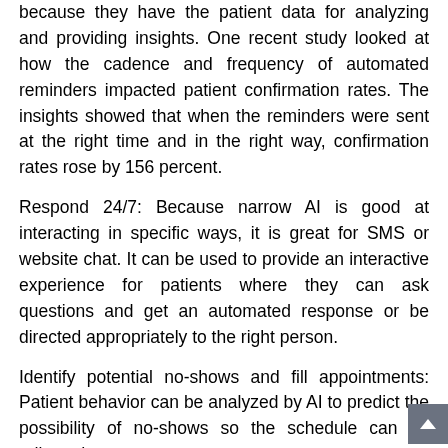because they have the patient data for analyzing and providing insights. One recent study looked at how the cadence and frequency of automated reminders impacted patient confirmation rates. The insights showed that when the reminders were sent at the right time and in the right way, confirmation rates rose by 156 percent.
Respond 24/7: Because narrow AI is good at interacting in specific ways, it is great for SMS or website chat. It can be used to provide an interactive experience for patients where they can ask questions and get an automated response or be directed appropriately to the right person.
Identify potential no-shows and fill appointments: Patient behavior can be analyzed by AI to predict the possibility of no-shows so the schedule can be adjusted